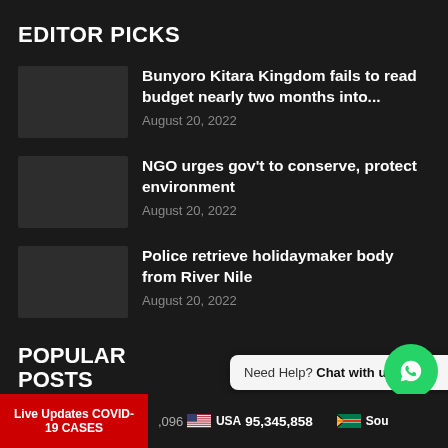EDITOR PICKS
Bunyoro Kitara Kingdom fails to read budget nearly two months into... August 20, 2022
NGO urges gov't to conserve, protect environment August 20, 2022
Police retrieve holidaymaker body from River Nile August 20, 2022
POPULAR POSTS
Need Help? Chat with us
Live Updates COVID-19 CASES
096 USA 95,345,858 Sou